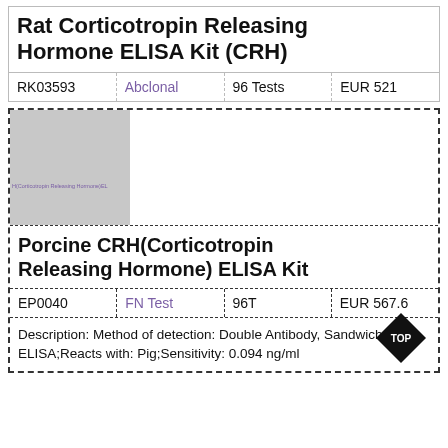Rat Corticotropin Releasing Hormone ELISA Kit (CRH)
|  |  |  |  |
| --- | --- | --- | --- |
| RK03593 | Abclonal | 96 Tests | EUR 521 |
[Figure (photo): Product image placeholder for Porcine CRH ELISA Kit with partial text visible]
Porcine CRH(Corticotropin Releasing Hormone) ELISA Kit
|  |  |  |  |
| --- | --- | --- | --- |
| EP0040 | FN Test | 96T | EUR 567.6 |
Description: Method of detection: Double Antibody, Sandwich ELISA;Reacts with: Pig;Sensitivity: 0.094 ng/ml